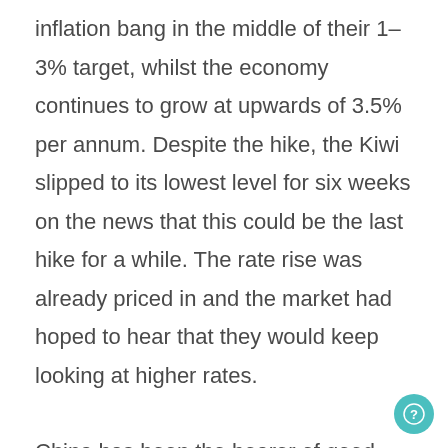inflation bang in the middle of their 1-3% target, whilst the economy continues to grow at upwards of 3.5% per annum. Despite the hike, the Kiwi slipped to its lowest level for six weeks on the news that this could be the last hike for a while. The rate rise was already priced in and the market had hoped to hear that they would keep looking at higher rates.
China has been the bearer of good news overnight, with HSBC's manufacturing index beating expectations, which tempered comments from Moody's that the Chinese